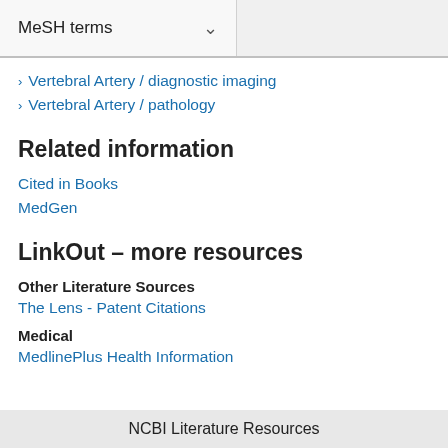MeSH terms
Vertebral Artery / diagnostic imaging
Vertebral Artery / pathology
Related information
Cited in Books
MedGen
LinkOut – more resources
Other Literature Sources
The Lens - Patent Citations
Medical
MedlinePlus Health Information
NCBI Literature Resources